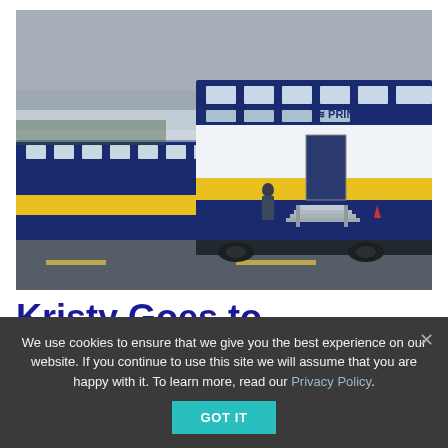[Figure (photo): A Princess Cruises branded train (rail car) in navy blue, white, and yellow stripe livery parked alongside a road on a cloudy day. A metal boarding staircase is positioned at the door. Additional rail cars visible in the background.]
Kristy Goes to
We use cookies to ensure that we give you the best experience on our website. If you continue to use this site we will assume that you are happy with it. To learn more, read our Privacy Policy.
GOT IT